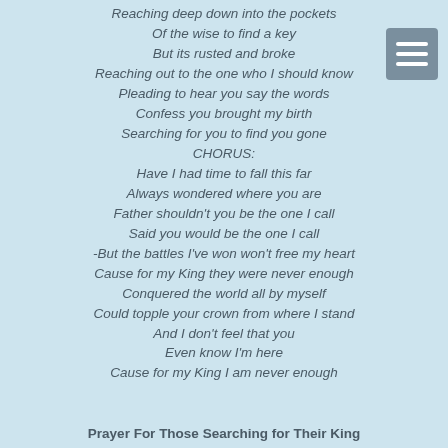Reaching deep down into the pockets
Of the wise to find a key
But its rusted and broke
Reaching out to the one who I should know
Pleading to hear you say the words
Confess you brought my birth
Searching for you to find you gone
CHORUS:
Have I had time to fall this far
Always wondered where you are
Father shouldn't you be the one I call
Said you would be the one I call
-But the battles I've won won't free my heart
Cause for my King they were never enough
Conquered the world all by myself
Could topple your crown from where I stand
And I don't feel that you
Even know I'm here
Cause for my King I am never enough
Prayer For Those Searching for Their King